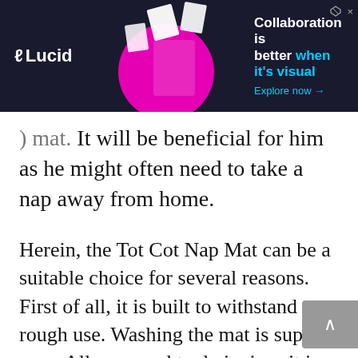[Figure (other): Lucid advertisement banner with dark background, magenta circle, woman figure, floating paper shapes, and text 'Collaboration is better when it's visual. Explore now →']
mat. It will be beneficial for him as he might often need to take a nap away from home.
Herein, the Tot Cot Nap Mat can be a suitable choice for several reasons. First of all, it is built to withstand rough use. Washing the mat is super easy. All you need to do is rinse it in cold water and let it dry.
It has a removable pillow and a light blanket in it. There is a secret pocket where the